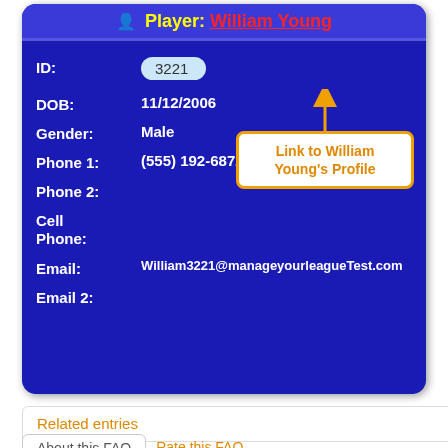[Figure (screenshot): Blue player profile card showing fields: ID: 3221, DOB: 11/12/2006, Gender: Male, Phone 1: (555) 192-6872, Phone 2: (blank), Cell Phone: (blank), Email: William3221@manageyourleagueTest.com, Email 2: (blank). Header reads 'Player: William Young'. An orange-bordered annotation box with orange text 'Link to William Young's Profile' points via arrow to the ID field.]
Related entries
About this FAQ
Rate this FAQ